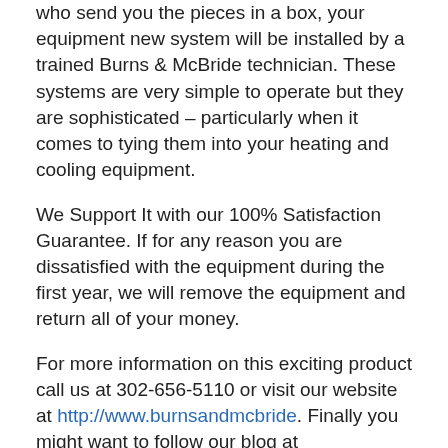who send you the pieces in a box, your equipment new system will be installed by a trained Burns & McBride technician. These systems are very simple to operate but they are sophisticated – particularly when it comes to tying them into your heating and cooling equipment.
We Support It with our 100% Satisfaction Guarantee. If for any reason you are dissatisfied with the equipment during the first year, we will remove the equipment and return all of your money.
For more information on this exciting product call us at 302-656-5110 or visit our website at http://www.burnsandmcbride. Finally you might want to follow our blog at http://www.burnsandmcbrideblog.com. Just as Smartphones are adding applications and changing every day so to with the technology behind our Smart Safe home system. Our blog explains some of the